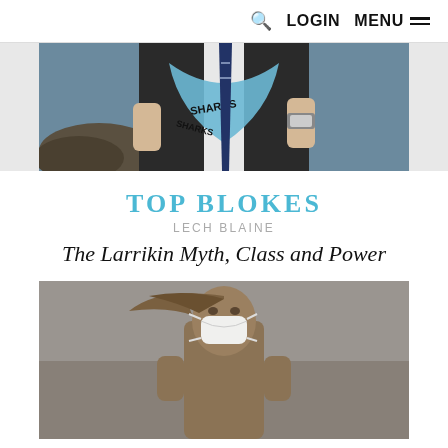LOGIN  MENU
[Figure (photo): A man in a suit holding up a light blue Sharks NRL scarf/jersey, with rocks and ocean in the background.]
TOP BLOKES
LECH BLAINE
The Larrikin Myth, Class and Power
[Figure (photo): Bronze statue of the Fearless Girl with a white surgical face mask on, set against a blurred indoor background.]